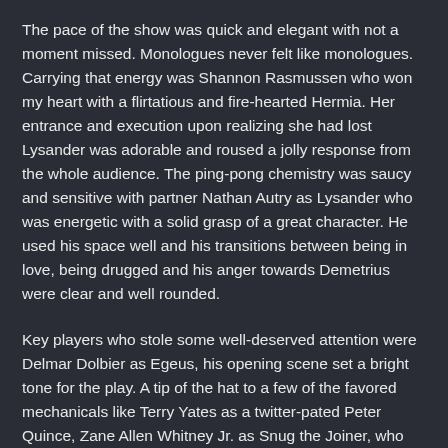The pace of the show was quick and elegant with not a moment missed. Monologues never felt like monologues. Carrying that energy was Shannon Rasmussen who won my heart with a flirtatious and fire-hearted Hermia. Her entrance and execution upon realizing she had lost Lysander was adorable and roused a jolly response from the whole audience. The ping-pong chemistry was saucy and sensitive with partner Nathan Autry as Lysander who was energetic with a solid grasp of a great character. He used his space well and his transitions between being in love, being drugged and his anger towards Demetrius were clear and well rounded.
Key players who stole some well-deserved attention were Delmar Dolbier as Egeus, his opening scene set a bright tone for the play. A tip of the hat to a few of the favored mechanicals like Terry Yates as a twitter-pated Peter Quince, Zane Allen Whitney Jr. as Snug the Joiner, who had not much of a word or two in script but was animated and amusing to follow in movement and intention, he was constantly a joy to watch. I also must mention the Morgan's choice for the melodic movement of the fairies. The fairy ladies in their billowy flowered